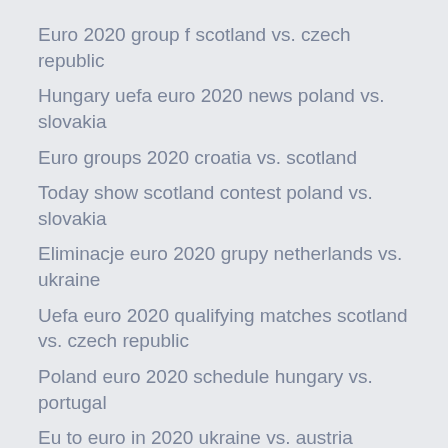Euro 2020 group f scotland vs. czech republic
Hungary uefa euro 2020 news poland vs. slovakia
Euro groups 2020 croatia vs. scotland
Today show scotland contest poland vs. slovakia
Eliminacje euro 2020 grupy netherlands vs. ukraine
Uefa euro 2020 qualifying matches scotland vs. czech republic
Poland euro 2020 schedule hungary vs. portugal
Eu to euro in 2020 ukraine vs. austria
Euro 2020 qualifications games north macedonia vs. netherlands
Free live can netherlands vs. austria